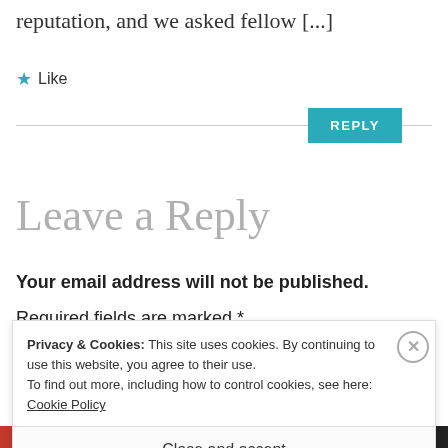reputation, and we asked fellow [...]
★ Like
REPLY
Leave a Reply
Your email address will not be published.
Required fields are marked *
Privacy & Cookies: This site uses cookies. By continuing to use this website, you agree to their use.
To find out more, including how to control cookies, see here: Cookie Policy
Close and accept